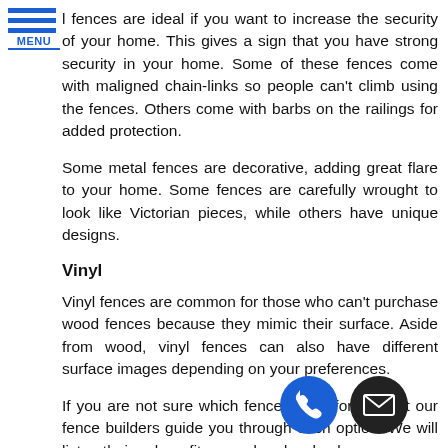l fences are ideal if you want to increase the security of your home. This gives a sign that you have strong security in your home. Some of these fences come with maligned chain-links so people can't climb using the fences. Others come with barbs on the railings for added protection.
Some metal fences are decorative, adding great flare to your home. Some fences are carefully wrought to look like Victorian pieces, while others have unique designs.
Vinyl
Vinyl fences are common for those who can't purchase wood fences because they mimic their surface. Aside from wood, vinyl fences can also have different surface images depending on your preferences.
If you are not sure which fences work for you, let our fence builders guide you through each option. We will list their benefits and drawbacks so you can the right decision for your home. When you ask for assistance